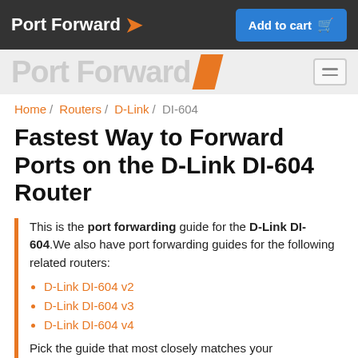Port Forward | Add to cart
[Figure (logo): Port Forward logo with orange slash on grey sub-header, hamburger menu icon]
Home / Routers / D-Link / DI-604
Fastest Way to Forward Ports on the D-Link DI-604 Router
This is the port forwarding guide for the D-Link DI-604.We also have port forwarding guides for the following related routers:
D-Link DI-604 v2
D-Link DI-604 v3
D-Link DI-604 v4
Pick the guide that most closely matches your